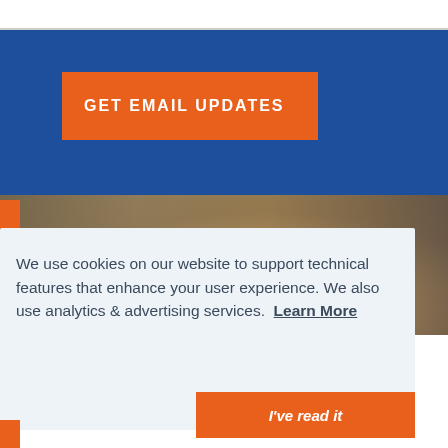[Figure (screenshot): Blue background section with orange 'GET EMAIL UPDATES' button]
GET EMAIL UPDATES
[Figure (photo): Blurred background photo of a person]
We use cookies on our website to support technical features that enhance your user experience. We also use analytics & advertising services.  Learn More
I've read it